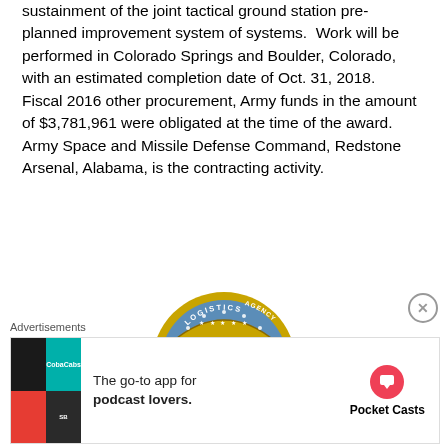sustainment of the joint tactical ground station pre-planned improvement system of systems. Work will be performed in Colorado Springs and Boulder, Colorado, with an estimated completion date of Oct. 31, 2018. Fiscal 2016 other procurement, Army funds in the amount of $3,781,961 were obligated at the time of the award. Army Space and Missile Defense Command, Redstone Arsenal, Alabama, is the contracting activity.
[Figure (logo): Defense Logistics Agency seal/logo — circular seal with eagle, stars, American flag shield, gold banner reading 'Defense Logistics Agency', blue arc reading 'Logistics']
Advertisements
[Figure (screenshot): Advertisement for Pocket Casts: 'The go-to app for podcast lovers.' with Pocket Casts logo]